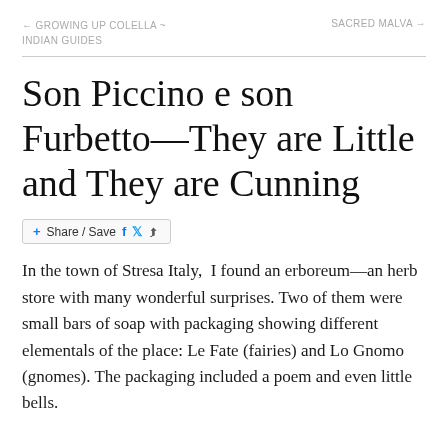← GROWING UP COLELLA ~ INDIAN GUIDES    SACRED MALVA →
Son Piccino e son Furbetto—They are Little and They are Cunning
[Figure (other): Share / Save button with Facebook, Twitter, and generic share icons]
In the town of Stresa Italy,  I found an erboreum—an herb store with many wonderful surprises. Two of them were small bars of soap with packaging showing different elementals of the place: Le Fate (fairies) and Lo Gnomo (gnomes). The packaging included a poem and even little bells.